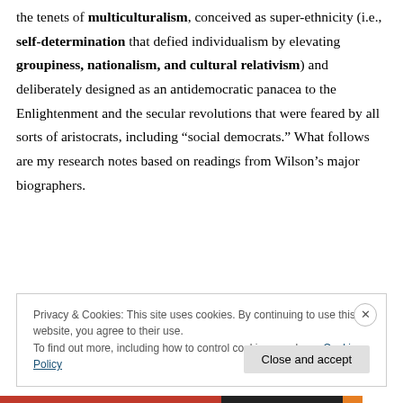the tenets of multiculturalism, conceived as super-ethnicity (i.e., self-determination that defied individualism by elevating groupiness, nationalism, and cultural relativism) and deliberately designed as an antidemocratic panacea to the Enlightenment and the secular revolutions that were feared by all sorts of aristocrats, including “social democrats.” What follows are my research notes based on readings from Wilson’s major biographers.
Privacy & Cookies: This site uses cookies. By continuing to use this website, you agree to their use. To find out more, including how to control cookies, see here: Cookie Policy